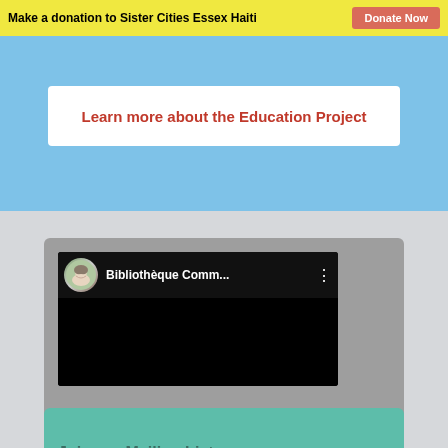Make a donation to Sister Cities Essex Haiti | Donate Now
Learn more about the Education Project
[Figure (screenshot): YouTube-style embedded video player showing 'Bibliothèque Comm...' with a circular avatar of a smiling woman, three-dot menu icon, and black video area.]
Watch a film about the library.
Join our Mailing List: